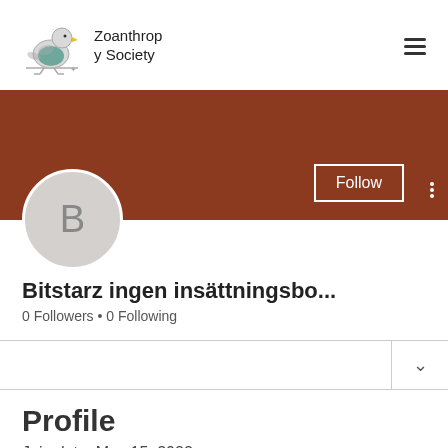Zoanthropy Society
[Figure (illustration): Bird logo illustration for Zoanthropy Society — a stylized bird with green/teal body, yellow beak, on a simple line base]
[Figure (photo): User profile cover banner — solid dark brown/rust color background]
[Figure (illustration): Profile avatar circle with letter B on gray background]
Follow
Bitstarz ingen insättningsbo...
0 Followers • 0 Following
Profile
Join date: May 15, 2022